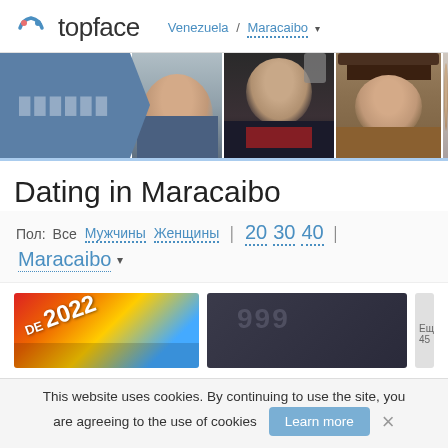topface — Venezuela / Maracaibo
[Figure (screenshot): Topface dating site logo with smiley icon, location breadcrumb showing Venezuela / Maracaibo, and a horizontal strip of profile photos with active blue tile]
Dating in Maracaibo
Пол: Все Мужчины Женщины | 20 30 40 | Maracaibo ▾
[Figure (photo): Row of partially visible user profile photos including one with rainbow decoration and 2022 text, one dark photo, and a partial third]
This website uses cookies. By continuing to use the site, you are agreeing to the use of cookies
Learn more